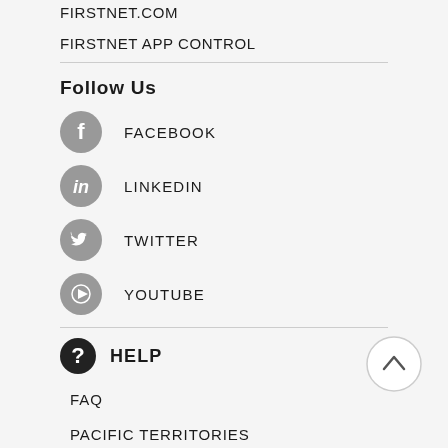FIRSTNET.COM
FIRSTNET APP CONTROL
Follow Us
FACEBOOK
LINKEDIN
TWITTER
YOUTUBE
HELP
FAQ
PACIFIC TERRITORIES
SUBMIT A TICKET